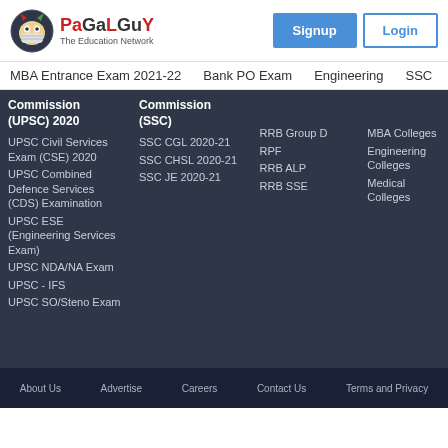[Figure (logo): PaGaLGuY logo - The Education Network with a cartoon mascot]
MBA Entrance Exam 2021-22    Bank PO Exam    Engineering    SSC
Commission (UPSC) 2020
UPSC Civil Services Exam (CSE) 2020
UPSC Combined Defence Services (CDS) Examination
UPSC ESE (Engineering Services Exam)
UPSC NDA/NA Exam
UPSC - IFS
UPSC SO/Steno Exam
Commission (SSC)
SSC CGL 2020-21
SSC CHSL 2020-21
SSC JE 2020-21
RRB Group D
RPF
RRB ALP
RRB SSE
MBA Colleges
Engineering Colleges
Medical Colleges
About Us    Advertise    Careers    Contact Us    Terms and Privacy